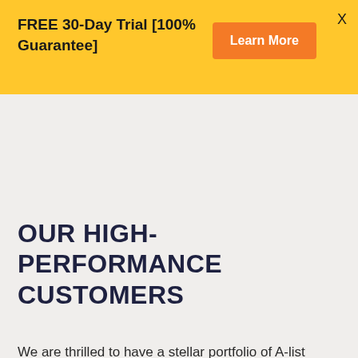FREE 30-Day Trial [100% Guarantee]
Learn More
OUR HIGH-PERFORMANCE CUSTOMERS
We are thrilled to have a stellar portfolio of A-list customers. They all have one thing in common. They are forward-thinking. These are the companies that appreciate the business-critical nature of workforce